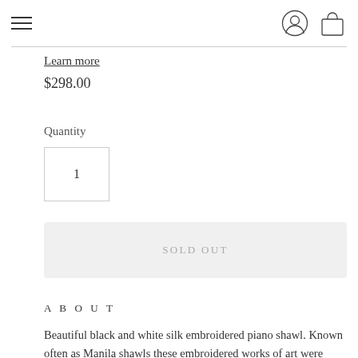Navigation bar with hamburger menu, user icon, and shopping bag icon
Learn more
$298.00
Quantity
1
SOLD OUT
ABOUT
Beautiful black and white silk embroidered piano shawl. Known often as Manila shawls these embroidered works of art were made popular in Latin America, the Philippines and